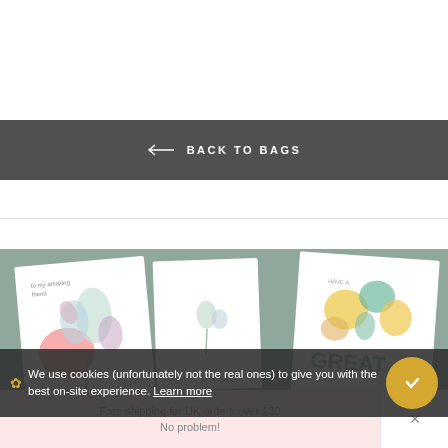← BACK TO BAGS
[Figure (photo): Three greeting cards displayed on a sage green background: left card shows floral illustration with 'to my amazing friend', center card shows a minimal botanical design, right card shows colorful flowers with text 'GREAT']
We use cookies (unfortunately not the real ones) to give you with the best on-site experience. Learn more
Free shipping for UK orders over £30
No problem!
×